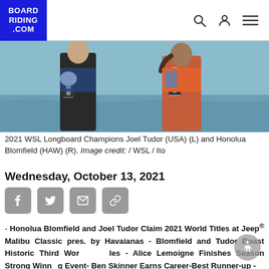BOARD RIDING .COM
[Figure (photo): Two people holding large silver trophies, standing side by side. They appear to be wearing colorful athletic attire against a background near water.]
2021 WSL Longboard Champions Joel Tudor (USA) (L) and Honolua Blomfield (HAW) (R). Image credit: / WSL / Ito
Wednesday, October 13, 2021
[Figure (other): Social media sharing icons: Facebook, Twitter, Email, Link]
- Honolua Blomfield and Joel Tudor Claim 2021 World Titles at Jeep® Malibu Classic pres. by Havaianas - Blomfield and Tudor Boast Historic Third World Titles - Alice Lemoigne Finishes Season Strong Winning Event- Ben Skinner Earns Career-Best Runner-up -